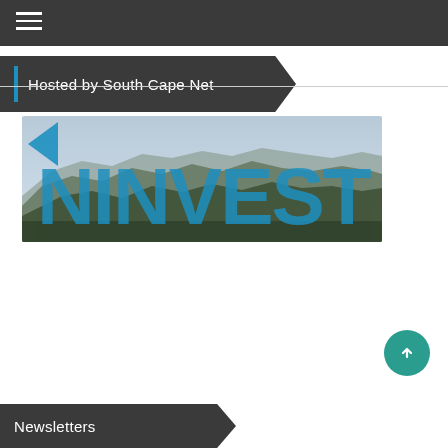≡ (hamburger menu)
Hosted by South Cape Net
[Figure (logo): NINVEST logo overlaid on a mountain landscape background image with blue large letters spelling NINVEST]
Newsletters